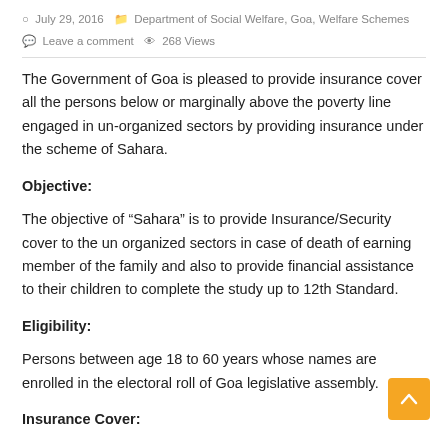July 29, 2016   Department of Social Welfare, Goa, Welfare Schemes   Leave a comment   268 Views
The Government of Goa is pleased to provide insurance cover all the persons below or marginally above the poverty line engaged in un-organized sectors by providing insurance under the scheme of Sahara.
Objective:
The objective of “Sahara” is to provide Insurance/Security cover to the un organized sectors in case of death of earning member of the family and also to provide financial assistance to their children to complete the study up to 12th Standard.
Eligibility:
Persons between age 18 to 60 years whose names are enrolled in the electoral roll of Goa legislative assembly.
Insurance Cover: